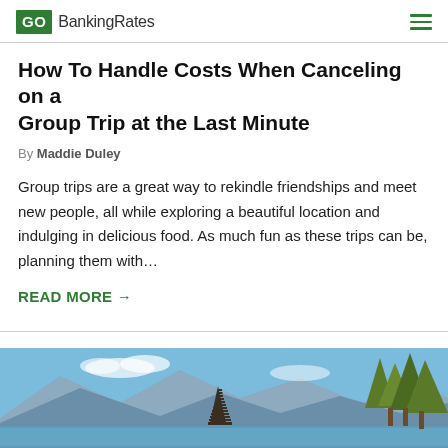GOBankingRates
How To Handle Costs When Canceling on a Group Trip at the Last Minute
By Maddie Duley
Group trips are a great way to rekindle friendships and meet new people, all while exploring a beautiful location and indulging in delicious food. As much fun as these trips can be, planning them with...
READ MORE →
[Figure (photo): Scenic view of a Balinese temple with mountains and water in the background, with trees visible]